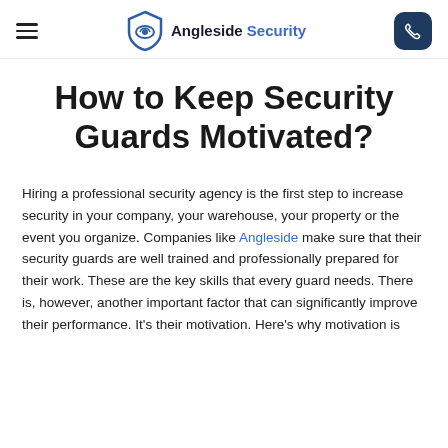≡  Angleside Security  [phone button]
How to Keep Security Guards Motivated?
Hiring a professional security agency is the first step to increase security in your company, your warehouse, your property or the event you organize. Companies like Angleside make sure that their security guards are well trained and professionally prepared for their work. These are the key skills that every guard needs. There is, however, another important factor that can significantly improve their performance. It's their motivation. Here's why motivation is